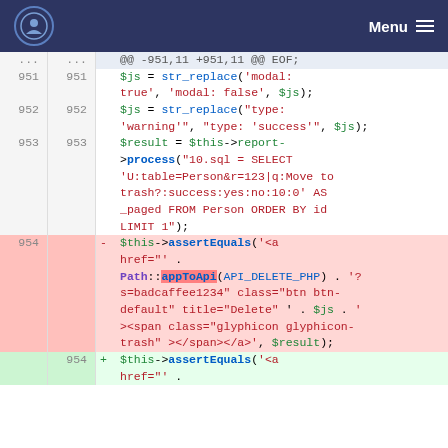Menu
[Figure (screenshot): Code diff view showing PHP code changes around line 951-954, with removed lines highlighted in red and added lines in green. Shows str_replace calls and assertEquals assertions with SQL query strings.]